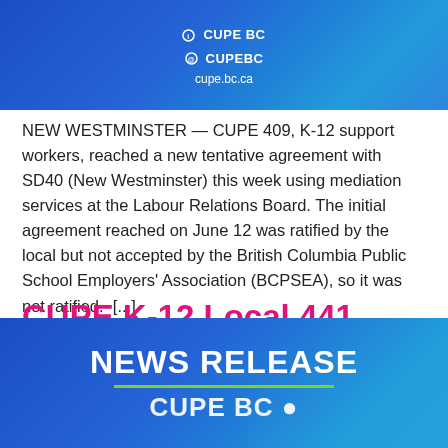[Figure (logo): CUPE BC header banner with social handles and website: ⓘ CUPE BC, @ CUPEBC, cupe.bc.ca on a blue gradient background]
NEW WESTMINSTER — CUPE 409, K-12 support workers, reached a new tentative agreement with SD40 (New Westminster) this week using mediation services at the Labour Relations Board. The initial agreement reached on June 12 was ratified by the local but not accepted by the British Columbia Public School Employers' Association (BCPSEA), so it was not ratified.  [...]
CUPE K-12 Local 441 serves strike notice in Saanich
[Figure (logo): CUPE BC news release banner with 'NEWS RELEASE' text in white on blue gradient background, with green underline and partial CUPE BC logo at bottom]